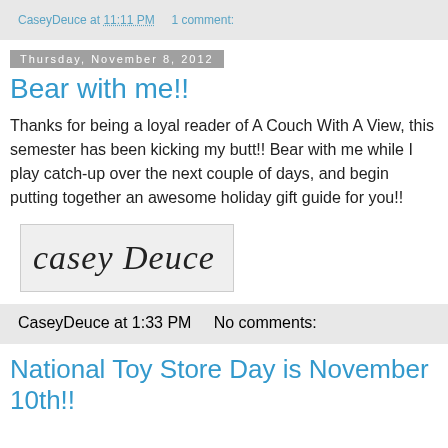CaseyDeuce at 11:11 PM   1 comment:
Thursday, November 8, 2012
Bear with me!!
Thanks for being a loyal reader of A Couch With A View, this semester has been kicking my butt!! Bear with me while I play catch-up over the next couple of days, and begin putting together an awesome holiday gift guide for you!!
[Figure (illustration): Handwritten signature reading 'casey Deuce' on a light gray background]
CaseyDeuce at 1:33 PM   No comments:
National Toy Store Day is November 10th!!